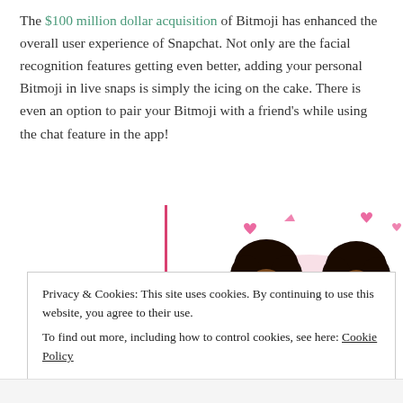The $100 million dollar acquisition of Bitmoji has enhanced the overall user experience of Snapchat. Not only are the facial recognition features getting even better, adding your personal Bitmoji in live snaps is simply the icing on the cake. There is even an option to pair your Bitmoji with a friend’s while using the chat feature in the app!
[Figure (illustration): Two Bitmoji cartoon characters of Black women side by side with pink hearts above them and a pink vertical bar on the left]
Privacy & Cookies: This site uses cookies. By continuing to use this website, you agree to their use. To find out more, including how to control cookies, see here: Cookie Policy
CLOSE AND ACCEPT